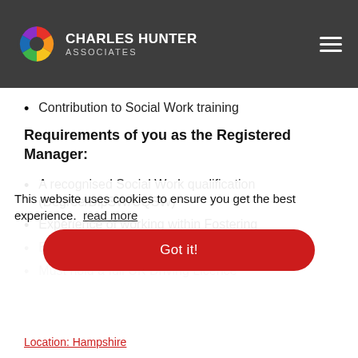CHARLES HUNTER ASSOCIATES
Contribution to Social Work training
Requirements of you as the Registered Manager:
A recognised Social Work qualification (Degree/DipSW/CQSW)
Experience of working within Fostering
Experience of Leadership and Management
Must hold a full UK Driving Licence
This website uses cookies to ensure you get the best experience. read more
Got it!
Location: Hampshire